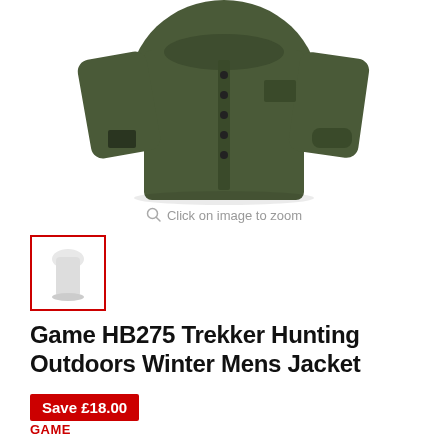[Figure (photo): Dark olive/khaki green men's hunting jacket shown from a three-quarter rear angle, featuring snap buttons, multiple pockets including a wrist pocket, and structured collar.]
Click on image to zoom
[Figure (photo): Small thumbnail image of the jacket (appears light/white in thumbnail view) with a red border indicating it is selected.]
Game HB275 Trekker Hunting Outdoors Winter Mens Jacket
Save £18.00
GAME